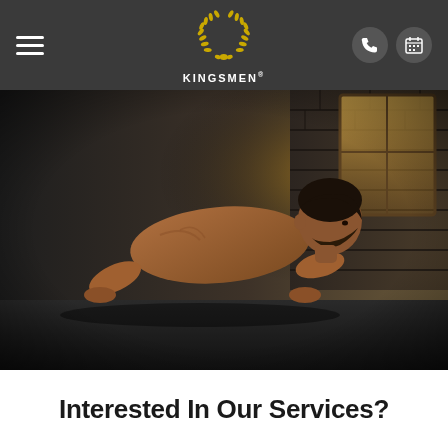[Figure (screenshot): Kingsmen fitness website header with hamburger menu on left, gold laurel wreath logo with 'KINGSMEN' text in center, phone and calendar icon buttons on right, all on dark grey background]
[Figure (photo): Athletic muscular man doing a push-up on a gym floor, shirtless, looking forward with intense expression, brick wall and window with light in background, dark moody lighting]
Interested In Our Services?